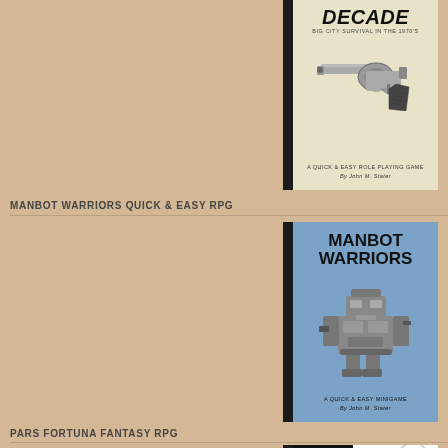[Figure (illustration): Book cover for 'Decade: Big City Survival in the 1970s' - a Quick & Easy Role Playing Game by John M. Stater. Cream/beige background with an illustration of a revolver handgun. Black spine on left.]
MANBOT WARRIORS QUICK & EASY RPG
[Figure (illustration): Book cover for 'Manbot Warriors' - A Quick & Easy Minigame by John M. Stater. Blue background with a large mechanical robot/mech warrior illustration. Black spine on left.]
PARS FORTUNA FANTASY RPG
[Figure (illustration): Book cover for 'Pars Fortuna' - partial view. Black left panel with white title text, white right panel with illustrated creature/figure.]